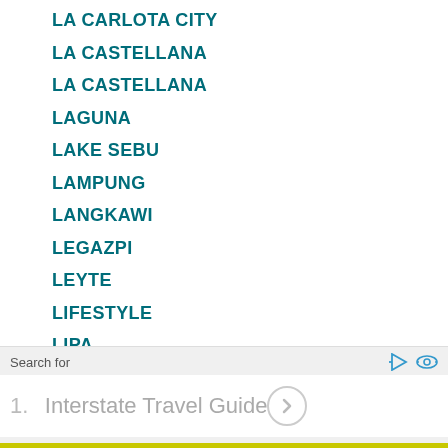LA CARLOTA CITY
LA CASTELLANA
LA CASTELLANA
LAGUNA
LAKE SEBU
LAMPUNG
LANGKAWI
LEGAZPI
LEYTE
LIFESTYLE
LIPA
Search for
1.  Interstate Travel Guide